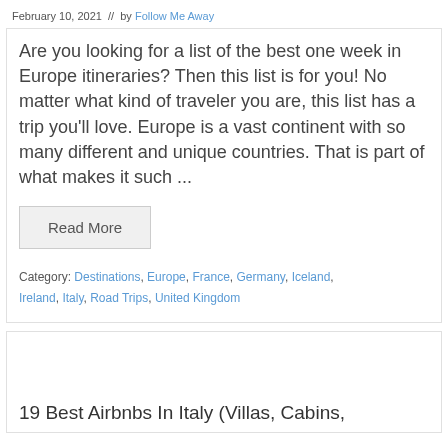February 10, 2021  //  by Follow Me Away
Are you looking for a list of the best one week in Europe itineraries? Then this list is for you! No matter what kind of traveler you are, this list has a trip you'll love. Europe is a vast continent with so many different and unique countries. That is part of what makes it such ...
Read More
Category: Destinations, Europe, France, Germany, Iceland, Ireland, Italy, Road Trips, United Kingdom
19 Best Airbnbs In Italy (Villas, Cabins,